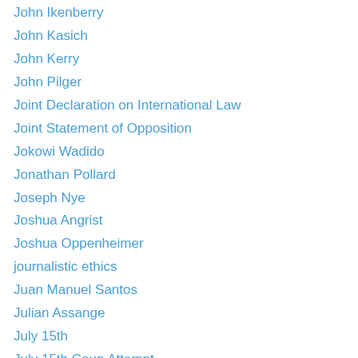John Ikenberry
John Kasich
John Kerry
John Pilger
Joint Declaration on International Law
Joint Statement of Opposition
Jokowi Wadido
Jonathan Pollard
Joseph Nye
Joshua Angrist
Joshua Oppenheimer
journalistic ethics
Juan Manuel Santos
Julian Assange
July 15th
July 15th Coup Attempt
justice
Justice & Development Party (AKP)
Kader Asmal
Kamila Shameis